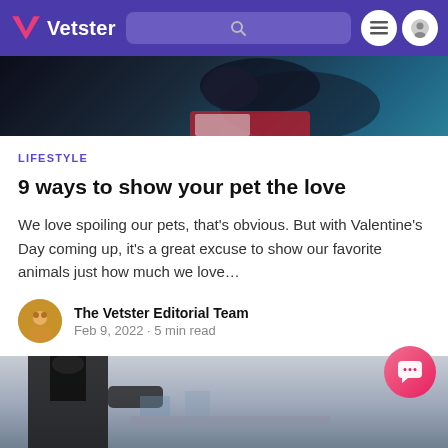Vetster
[Figure (photo): Dark background photo showing a pet (cat or dog) in a blurred setting with teal colors]
LIFESTYLE
9 ways to show your pet the love
We love spoiling our pets, that's obvious. But with Valentine's Day coming up, it's a great excuse to show our favorite animals just how much we love…
The Vetster Editorial Team
Feb 9, 2022 · 5 min read
[Figure (photo): Bottom photo showing a person in a black shirt, partially visible, with a blurred background]